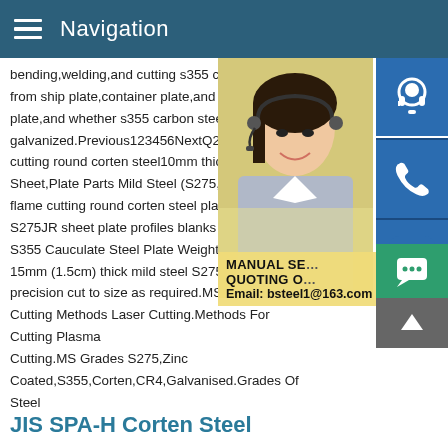Navigation
bending,welding,and cutting s355 carbon from ship plate,container plate,and boiler plate,and whether s355 carbon steel plate galvanized.Previous123456NextQ235 Q3cutting round corten steel10mm thick s235 Sheet,Plate Parts Mild Steel (S275,S355 Gflame cutting round corten steel plate 10m S275JR sheet plate profiles blanks precisi S355 Cauculate Steel Plate Weight Cuttin 15mm (1.5cm) thick mild steel S275JR sh precision cut to size as required.MS Plate Cutting Methods Laser Cutting.Methods For Cutting Plasma Cutting.MS Grades S275,Zinc Coated,S355,Corten,CR4,Galvanised.Grades Of Steel
[Figure (photo): Photo of a woman wearing a headset, customer service representative, with blue icon buttons for customer service, phone, and Skype on the right side, and an overlay showing MANUAL SERVICE, QUOTING, and Email: bsteel1@163.com]
JIS SPA-H Corten Steel